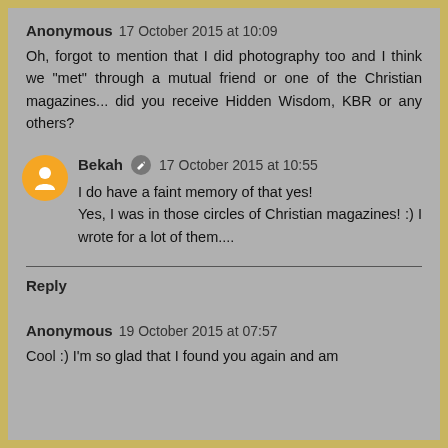Anonymous 17 October 2015 at 10:09
Oh, forgot to mention that I did photography too and I think we "met" through a mutual friend or one of the Christian magazines... did you receive Hidden Wisdom, KBR or any others?
Bekah 17 October 2015 at 10:55
I do have a faint memory of that yes! Yes, I was in those circles of Christian magazines! :) I wrote for a lot of them....
Reply
Anonymous 19 October 2015 at 07:57
Cool :) I'm so glad that I found you again and am